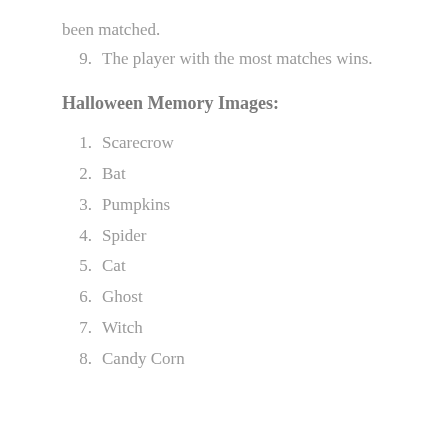been matched.
9.  The player with the most matches wins.
Halloween Memory Images:
1.  Scarecrow
2.  Bat
3.  Pumpkins
4.  Spider
5.  Cat
6.  Ghost
7.  Witch
8.  Candy Corn